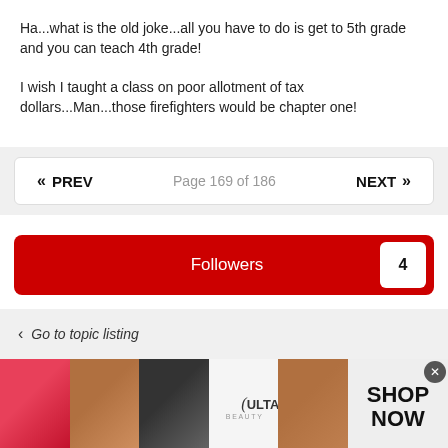Ha...what is the old joke...all you have to do is get to 5th grade and you can teach 4th grade!
I wish I taught a class on poor allotment of tax dollars...Man...those firefighters would be chapter one!
« PREV   Page 169 of 186   NEXT »
Followers  4
< Go to topic listing
[Figure (photo): Advertisement banner for Ulta Beauty showing makeup images with SHOP NOW text]